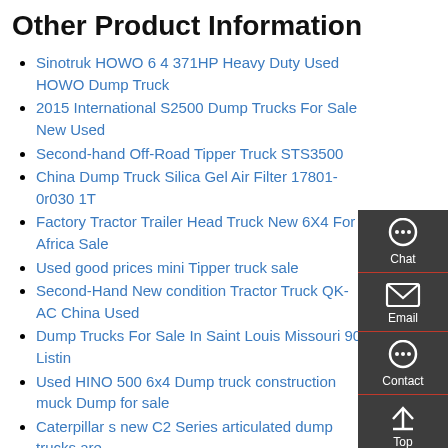Other Product Information
Sinotruk HOWO 6 4 371HP Heavy Duty Used HOWO Dump Truck
2015 International S2500 Dump Trucks For Sale New Used
Second-hand Off-Road Tipper Truck STS3500
China Dump Truck Silica Gel Air Filter 17801-0r030 1T
Factory Tractor Trailer Head Truck New 6X4 For Africa Sale
Used good prices mini Tipper truck sale
Second-Hand New condition Tractor Truck QK-AC China Used
Dump Trucks For Sale In Saint Louis Missouri 90 Listin
Used HINO 500 6x4 Dump truck construction muck Dump for sale
Caterpillar s new C2 Series articulated dump trucks are
6X4 Popular Hot Selling Good Condition Dump Truck and Tipper Truck
Standard HOWO Transfer Truck Heavy Dumper Trucks in